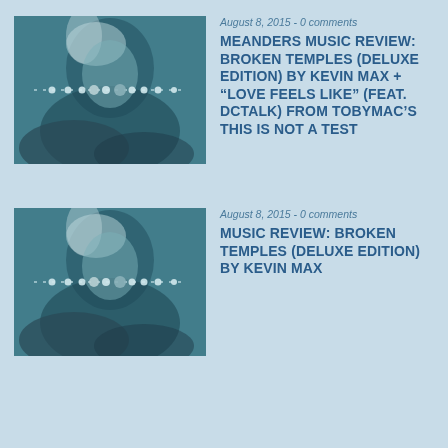[Figure (photo): Teal-toned artistic photo of a pale-haired person with a dotted line graphic overlay]
August 8, 2015 - 0 comments
MEANDERS MUSIC REVIEW: BROKEN TEMPLES (DELUXE EDITION) BY KEVIN MAX + “LOVE FEELS LIKE” (FEAT. DCTALK) FROM TOBYMAC’S THIS IS NOT A TEST
[Figure (photo): Teal-toned artistic photo of a pale-haired person with a dotted line graphic overlay]
August 8, 2015 - 0 comments
MUSIC REVIEW: BROKEN TEMPLES (DELUXE EDITION) BY KEVIN MAX